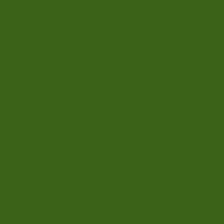[Figure (photo): Large dark green rectangular image occupying the left approximately two-thirds of the page]
of the CW series S...
SUBJECT:CINEMA...
Subject:CINEMA's
Subject:CINEMA to
*** E-mail us at sub...
Want to take St:C...